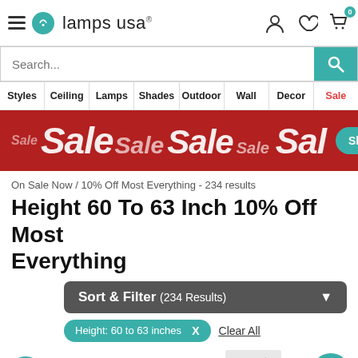lamps usa
Search...
Styles | Ceiling | Lamps | Shades | Outdoor | Wall | Decor | Sale
[Figure (illustration): Red sale banner with repeated 'Sale' text in white italic, and a teal 'Shop Now' button with arrow]
On Sale Now / 10% Off Most Everything - 234 results
Height 60 To 63 Inch 10% Off Most Everything
Sort & Filter (234 Results) ▼
Height: 60 to 63 inches  X    Clear All
[Figure (illustration): Accessibility icon (teal circle with wheelchair user), heart icon, partial lamp product image, partial heart icon, and teal chat bubble button]